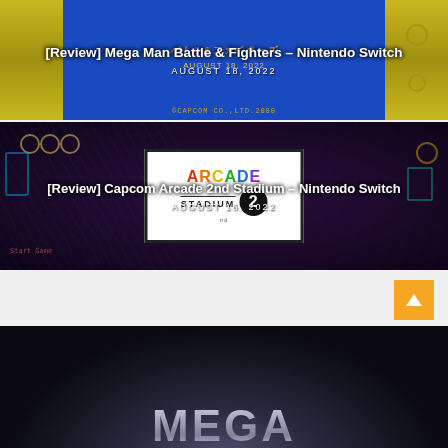[Figure (screenshot): Screenshot from Mega Man Battle & Fighters Nintendo Switch game, showing Japanese text on blue background with yellow/green game controller borders and CAPCOM CO. LTD 2000 copyright text]
[Review] Mega Man Battle & Fighters – Nintendo Switch
AUGUST 18, 2022
[Figure (screenshot): Screenshot from Capcom Arcade 2nd Stadium Nintendo Switch game, showing the game's title screen with colorful arcade logo and character outline art on dark purple background]
[Review] Capcom Arcade 2nd Stadium – Nintendo Switch
AUGUST 16, 2022
[Figure (screenshot): Partial screenshot of a Mega Man related game or review article, showing large silver/white MEGA text on dark background with light ray effects]